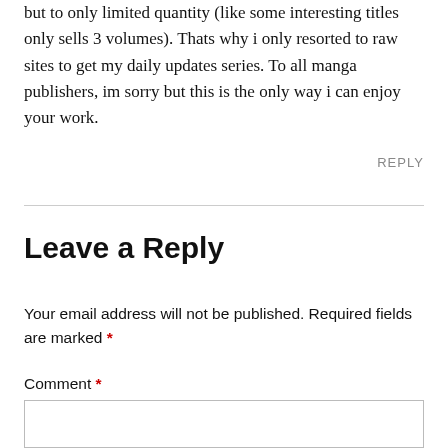but to only limited quantity (like some interesting titles only sells 3 volumes). Thats why i only resorted to raw sites to get my daily updates series. To all manga publishers, im sorry but this is the only way i can enjoy your work.
REPLY
Leave a Reply
Your email address will not be published. Required fields are marked *
Comment *